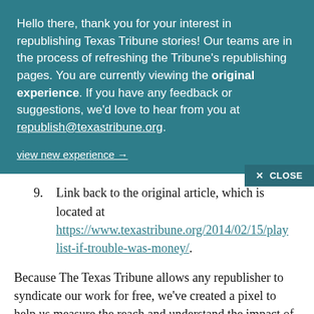Hello there, thank you for your interest in republishing Texas Tribune stories! Our teams are in the process of refreshing the Tribune's republishing pages. You are currently viewing the original experience. If you have any feedback or suggestions, we'd love to hear from you at republish@texastribune.org.
view new experience →
✕ CLOSE
9. Link back to the original article, which is located at https://www.texastribune.org/2014/02/15/playlist-if-trouble-was-money/.
Because The Texas Tribune allows any republisher to syndicate our work for free, we've created a pixel to help us measure the reach and understand the impact of our stories. If you're using the HTML version of the article, you can ignore this — this snippet is already included. If not, and if your CMS